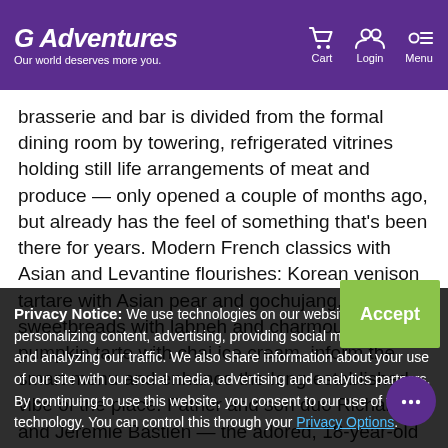G Adventures — Our world deserves more you. | Cart | Login | Menu
brasserie and bar is divided from the formal dining room by towering, refrigerated vitrines holding still life arrangements of meat and produce — only opened a couple of months ago, but already has the feel of something that's been there for years. Modern French classics with Asian and Levantine flourishes: Korean venison tartare with Asian pear and gochujang, grilled sweetbreads with labneh and charmoula, pumpkin tarte with chai ice cream, inform the smart menu and enhance the long-established vibe of the place. Father and son duo Richard and Jeremie Bastien — the adored, 18-year-old Montreal classic Leméac — have opened one of the g... ... has s...
Privacy Notice: We use technologies on our website for personalizing content, advertising, providing social media features, and analyzing our traffic. We also share information about your use of our site with our social media, advertising and analytics partners. By continuing to use this website, you consent to our use of this technology. You can control this through your Privacy Options.
Little Italy's Mon Lapin, an outpost of the Joe Beef empire headed up by sommelier Vanya Filipovic and chef Marc-Olivier Frappier, is quickly gaining the kinds of accolades made it parent restaurant such a staple h... ... The...